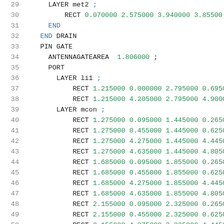29    LAYER met2 ;
30        RECT 0.070000 2.575000 3.940000 3.855000
31      END
32    END DRAIN
33    PIN GATE
34      ANTENNAGATEAREA  1.806000 ;
35      PORT
36        LAYER li1 ;
37            RECT 1.215000 0.000000 2.795000 0.695000
38            RECT 1.215000 4.205000 2.795000 4.900000
39        LAYER mcon ;
40            RECT 1.275000 0.095000 1.445000 0.265000
41            RECT 1.275000 0.455000 1.445000 0.625000
42            RECT 1.275000 4.275000 1.445000 4.445000
43            RECT 1.275000 4.635000 1.445000 4.805000
44            RECT 1.685000 0.095000 1.855000 0.265000
45            RECT 1.685000 0.455000 1.855000 0.625000
46            RECT 1.685000 4.275000 1.855000 4.445000
47            RECT 1.685000 4.635000 1.855000 4.805000
48            RECT 2.155000 0.095000 2.325000 0.265000
49            RECT 2.155000 0.455000 2.325000 0.625000
50            RECT 2.155000 4.275000 2.325000 4.445000